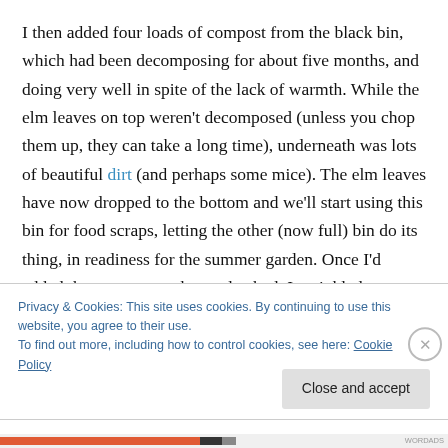I then added four loads of compost from the black bin, which had been decomposing for about five months, and doing very well in spite of the lack of warmth. While the elm leaves on top weren't decomposed (unless you chop them up, they can take a long time), underneath was lots of beautiful dirt (and perhaps some mice). The elm leaves have now dropped to the bottom and we'll start using this bin for food scraps, letting the other (now full) bin do its thing, in readiness for the summer garden. Once I'd added the compost to the garden bed, I sprinkled on some lime,
Privacy & Cookies: This site uses cookies. By continuing to use this website, you agree to their use.
To find out more, including how to control cookies, see here: Cookie Policy
Close and accept